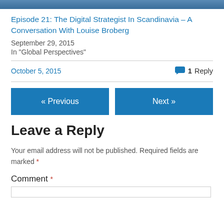[Figure (photo): Blurred/cropped image strip at top of page]
Episode 21: The Digital Strategist In Scandinavia – A Conversation With Louise Broberg
September 29, 2015
In "Global Perspectives"
October 5, 2015
1 Reply
« Previous
Next »
Leave a Reply
Your email address will not be published. Required fields are marked *
Comment *